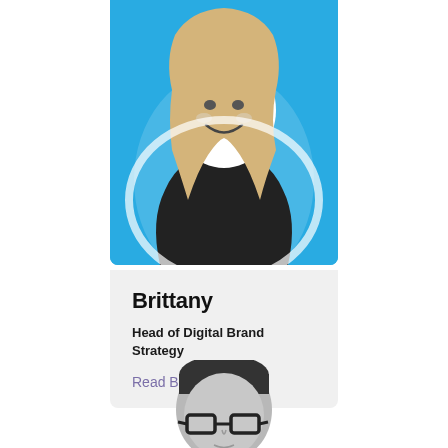[Figure (photo): Headshot of Brittany against a bright blue background, black and white photo of a smiling blonde woman]
Brittany
Head of Digital Brand Strategy
Read Bio
[Figure (photo): Headshot of a man with glasses and short hair, black and white photo, partially visible at bottom of page]